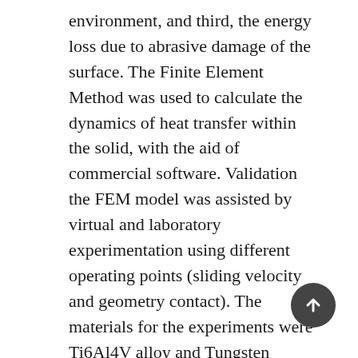environment, and third, the energy loss due to abrasive damage of the surface. The Finite Element Method was used to calculate the dynamics of heat transfer within the solid, with the aid of commercial software. Validation the FEM model was assisted by virtual and laboratory experimentation using different operating points (sliding velocity and geometry contact). The materials for the experiments were Ti6Al4V alloy and Tungsten Carbide (WC-Co). The results showed that the sliding wear rate has a linear relationship with the energy dissipation flow. It was also found that energy loss due to micro-cutting is relevant for the system. This mechanism changes if the sliding velocity and pin geometry are modified though the degradation coefficient continues to present a linear behavior. We found that the less relevant dissipation mechanism for all the cases studied is the energy release by